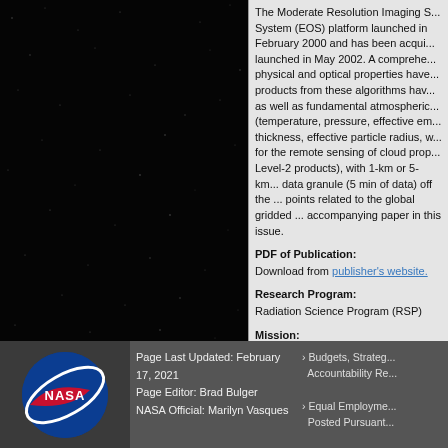[Figure (photo): Black starfield background on the left side of the page, dark space with small white stars scattered throughout]
The Moderate Resolution Imaging System (EOS) platform launched in February 2000 and has been acqui... launched in May 2002. A comprehe... physical and optical properties have... products from these algorithms hav... as well as fundamental atmospheric (temperature, pressure, effective en... thickness, effective particle radius, w... for the remote sensing of cloud pro... Level-2 products), with 1-km or 5-k... data granule (5 min of data) off the ... points related to the global gridded ... accompanying paper in this issue.
PDF of Publication:
Download from publisher's website.
Research Program:
Radiation Science Program (RSP)
Mission:
Aqua-MODIS
Terra-MODIS
Page Last Updated: February 17, 2021
Page Editor: Brad Bulger
NASA Official: Marilyn Vasques
› Budgets, Strateg... Accountability Re...
› Equal Employme... Posted Pursuant...